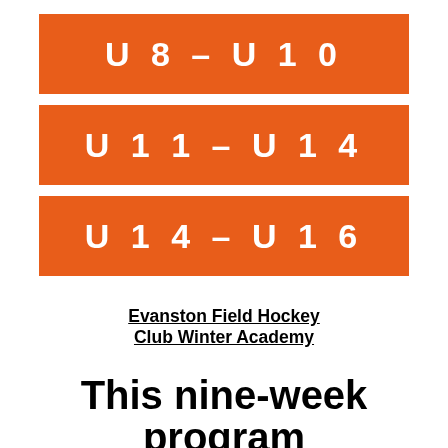U8-U10
U11-U14
U14-U16
Evanston Field Hockey Club Winter Academy
This nine-week program blends classical field